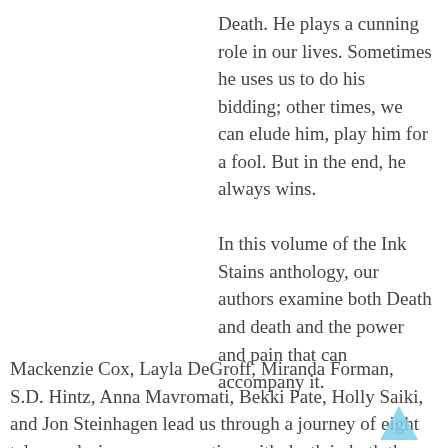Death. He plays a cunning role in our lives. Sometimes he uses us to do his bidding; other times, we can elude him, play him for a fool. But in the end, he always wins.

In this volume of the Ink Stains anthology, our authors examine both Death and death and the power and pain that can accompany it.
Mackenzie Cox, Layla DeGroff, Miranda Forman, S.D. Hintz, Anna Mavromati, Bekki Pate, Holly Saiki, and Jon Steinhagen lead us through a journey of eight tales exploring our connection with death in both the